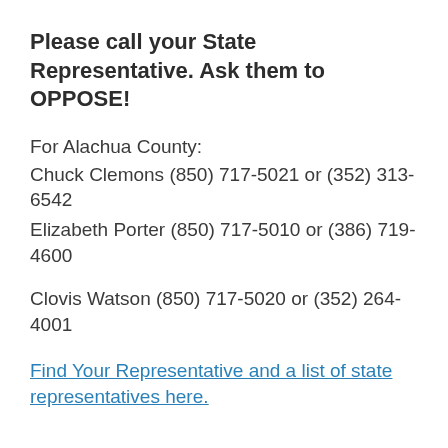Please call your State Representative. Ask them to OPPOSE!
For Alachua County:
Chuck Clemons (850) 717-5021 or (352) 313-6542
Elizabeth Porter  (850) 717-5010 or (386) 719-4600

Clovis Watson (850) 717-5020 or (352) 264-4001
Find Your Representative and a list of state representatives here.